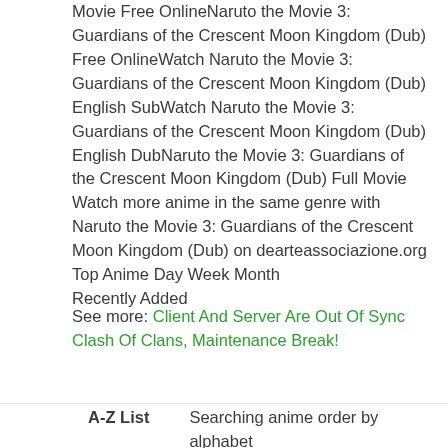Movie Free OnlineNaruto the Movie 3: Guardians of the Crescent Moon Kingdom (Dub) Free OnlineWatch Naruto the Movie 3: Guardians of the Crescent Moon Kingdom (Dub) English SubWatch Naruto the Movie 3: Guardians of the Crescent Moon Kingdom (Dub) English DubNaruto the Movie 3: Guardians of the Crescent Moon Kingdom (Dub) Full Movie
Watch more anime in the same genre with Naruto the Movie 3: Guardians of the Crescent Moon Kingdom (Dub) on dearteassociazione.org
Top Anime Day Week Month
Recently Added
See more: Client And Server Are Out Of Sync Clash Of Clans, Maintenance Break!
A-Z List    Searching anime order by alphabet